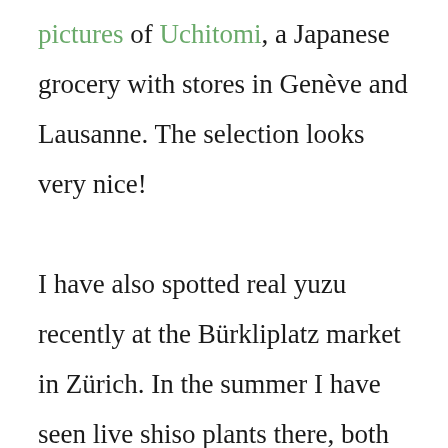pictures of Uchitomi, a Japanese grocery with stores in Genève and Lausanne. The selection looks very nice! I have also spotted real yuzu recently at the Bürkliplatz market in Zürich. In the summer I have seen live shiso plants there, both red and green too, Japanese-style sweet potatoes at Barkat, and satoimo (taro roots) at the Indian grocery store next the